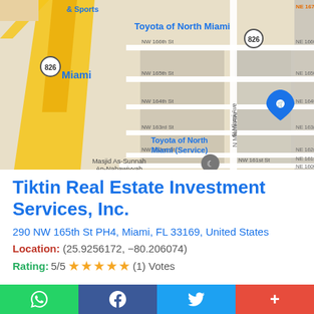[Figure (map): Google Maps screenshot showing area around NW 165th St in Miami/North Miami, FL. Landmarks visible include Toyota of North Miami, Toyota of North Miami Service, Masjid As-Sunnah An-Nabawiyyah, Dunkin', and various street labels including NW 166th St, NW 165th St, NW 164th St, NW 163rd St, NW 162nd St, NW 161st St, NW 2nd Ave, N Miami Ave, NE 167, NE 166th, NE 165th, NE 164th, NE 163rd, NE 162nd, NE 161st, NE 160th.]
Tiktin Real Estate Investment Services, Inc.
290 NW 165th St PH4, Miami, FL 33169, United States
Location: (25.9256172, -80.206074)
Rating: 5/5 ★★★★★ (1) Votes